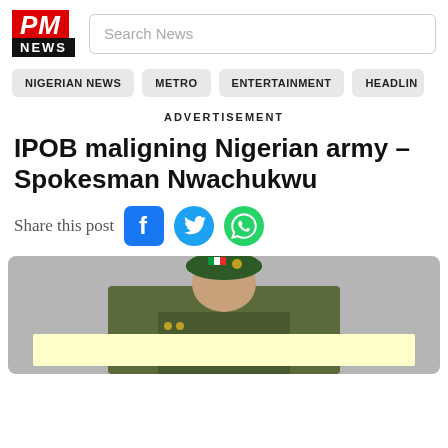PM NEWS
Search News
NIGERIAN NEWS
METRO
ENTERTAINMENT
HEADLIN
ADVERTISEMENT
IPOB maligning Nigerian army – Spokesman Nwachukwu
Share this post
[Figure (photo): Military officer in green beret and camouflage uniform, with a light yellow advertisement overlay at the bottom]